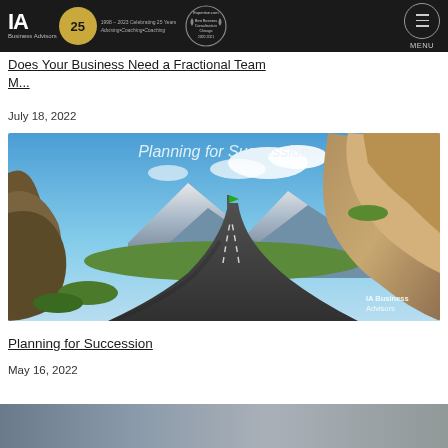IA Business Advisors — Navigation bar with logo, Expertise.com badge, MENU
Does Your Business Need a Fractional Team M...
July 18, 2022
[Figure (photo): Mountain road winding through rocky alpine landscape with blue sky and clouds; text overlay reads 'Planning for Succession'; IA Business Advisors watermark in bottom right]
Planning for Succession
May 16, 2022